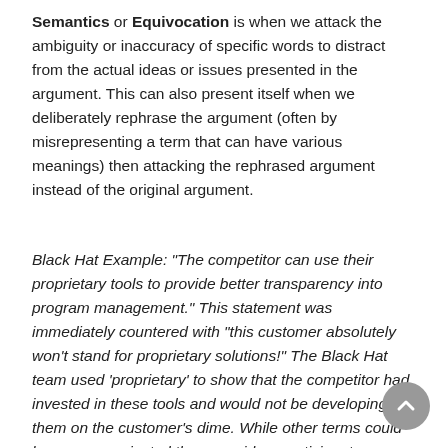Semantics or Equivocation is when we attack the ambiguity or inaccuracy of specific words to distract from the actual ideas or issues presented in the argument. This can also present itself when we deliberately rephrase the argument (often by misrepresenting a term that can have various meanings) then attacking the rephrased argument instead of the original argument.
Black Hat Example: "The competitor can use their proprietary tools to provide better transparency into program management." This statement was immediately countered with "this customer absolutely won't stand for proprietary solutions!" The Black Hat team used 'proprietary' to show that the competitor had invested in these tools and would not be developing them on the customer's dime. While other terms could have communicated the same idea, participants focused on the nature of the term 'proprietary'